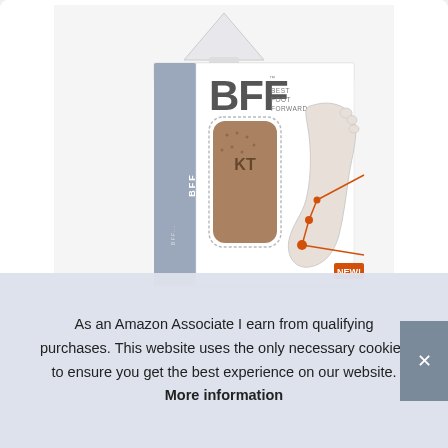[Figure (photo): Product photo of BFF Best Foot Forward KT tape foot insert product in packaging, showing the box with a triangular hang tag at top, dark gray spine, white front with large 'BFF' logo text and 'BEST FOOT FORWARD' subtitle, a brown textured foot insert visible through a dotted window, and an illustrated foot diagram on the right side in orange and gray, with 'NEW!' badge.]
As an Amazon Associate I earn from qualifying purchases. This website uses the only necessary cookies to ensure you get the best experience on our website. More information